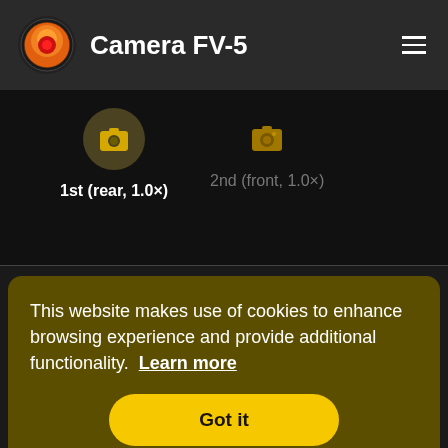[Figure (logo): Camera FV-5 app logo: orange/red circular icon with dark background]
Camera FV-5
[Figure (screenshot): Hamburger menu icon (three horizontal lines) in white on dark background]
[Figure (screenshot): Camera selection UI: '1st (rear, 1.0×)' selected (active, with highlighted circle icon), '2nd (front, 1.0×)' unselected]
1st (rear, 1.0×)
2nd (front, 1.0×)
Sensor
4.6×3.4 mm
This website makes use of cookies to enhance browsing experience and provide additional functionality.  Learn more
Got it